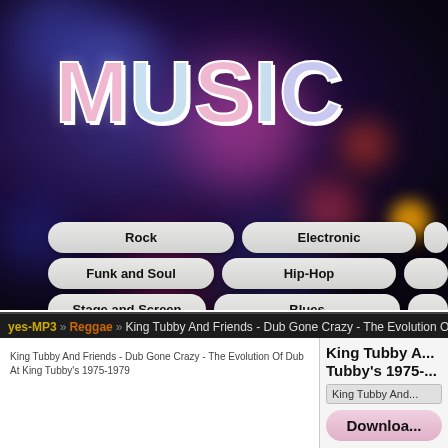[Figure (illustration): Music website header with bokeh background showing colorful blurred lights in blues, pinks, and reds. Large stylized 'MUSIC' text in pink and light blue with white outlines. Navigation pill buttons for Rock, Electronic, Funk and Soul, Hip-Hop, Stage and Screen, Blues, and partially visible others.]
yes-MP3 » Reggae » King Tubby And Friends - Dub Gone Crazy - The Evolution Of D...
[Figure (photo): Album image placeholder: King Tubby And Friends - Dub Gone Crazy - The Evolution Of Dub At King Tubby's 1975-1979]
King Tubby A... Tubby's 1975-...
King Tubby And...
Download...